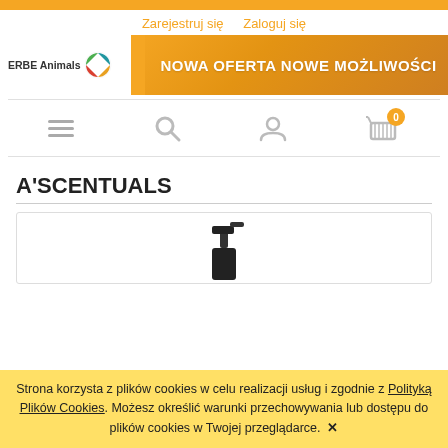Zarejestruj się  Zaloguj się
[Figure (logo): ERBE Animals logo with colorful circular emblem and banner reading NOWA OFERTA NOWE MOŻLIWOŚCI on orange background with cat photo]
[Figure (screenshot): Website toolbar with hamburger menu, search, user profile, and shopping cart icons. Cart shows badge with 0.]
A'SCENTUALS
[Figure (photo): Product image showing a black pump dispenser bottle, partially visible]
Strona korzysta z plików cookies w celu realizacji usług i zgodnie z Polityką Plików Cookies. Możesz określić warunki przechowywania lub dostępu do plików cookies w Twojej przeglądarce. ✕